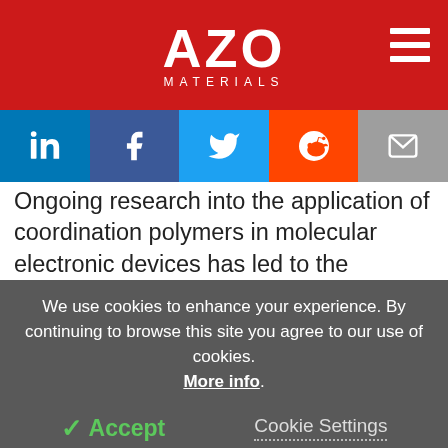AZO MATERIALS
[Figure (infographic): Social sharing buttons: LinkedIn, Facebook, Twitter, Reddit, Email]
Ongoing research into the application of coordination polymers in molecular electronic devices has led to the development of conductive coordination polymers that can employ organic linkers that function as hybrid organic/inorganic materials.
[Figure (illustration): Partial molecular/crystal structure diagram at the bottom of the article text]
We use cookies to enhance your experience. By continuing to browse this site you agree to our use of cookies. More info.
✓ Accept
Cookie Settings